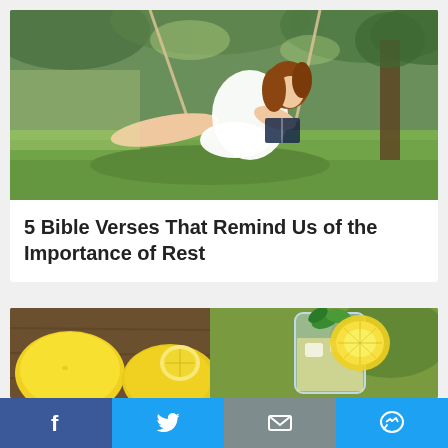[Figure (photo): Young woman with auburn hair in a white dress sitting on a wooden swing in a park, reading a book, surrounded by green trees and grass]
5 Bible Verses That Remind Us of the Importance of Rest
[Figure (photo): Close-up of lemons and a glass of lemonade with mint leaves on a wooden surface]
Social share bar with Facebook, Twitter, Email, and Messenger buttons